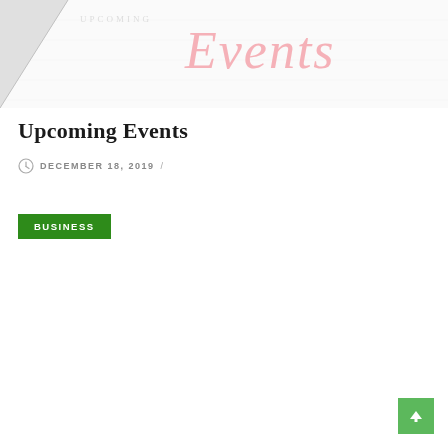[Figure (illustration): Banner image with pale pink cursive 'Events' text and a folded corner triangle on the left side against a white/light background]
Upcoming Events
DECEMBER 18, 2019 /
BUSINESS